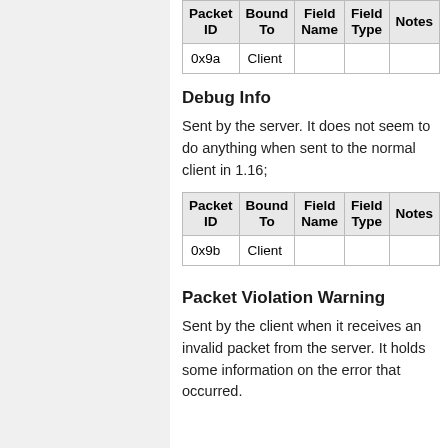| Packet ID | Bound To | Field Name | Field Type | Notes |
| --- | --- | --- | --- | --- |
| 0x9a | Client |  |  |  |
Debug Info
Sent by the server. It does not seem to do anything when sent to the normal client in 1.16;
| Packet ID | Bound To | Field Name | Field Type | Notes |
| --- | --- | --- | --- | --- |
| 0x9b | Client |  |  |  |
Packet Violation Warning
Sent by the client when it receives an invalid packet from the server. It holds some information on the error that occurred.